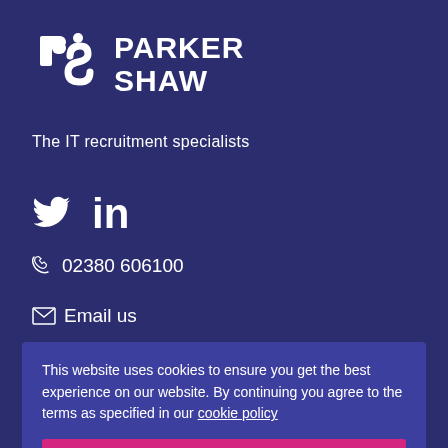[Figure (logo): Parker Shaw logo with stylized 'ps' icon and company name text]
The IT recruitment specialists
[Figure (infographic): Twitter bird icon and LinkedIn 'in' icon for social media links]
02380 606100
Email us
This website uses cookies to ensure you get the best experience on our website. By continuing you agree to the terms as specified in our cookie policy
I Agree